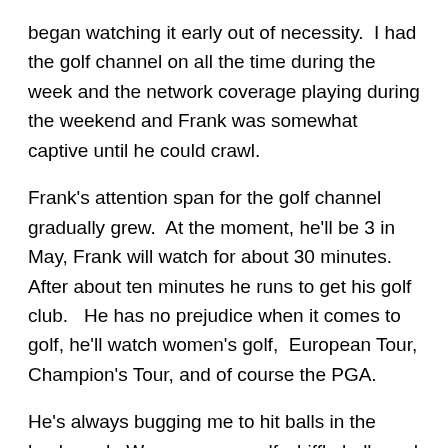began watching it early out of necessity.  I had the golf channel on all the time during the week and the network coverage playing during the weekend and Frank was somewhat captive until he could crawl.
Frank's attention span for the golf channel gradually grew.  At the moment, he'll be 3 in May, Frank will watch for about 30 minutes.  After about ten minutes he runs to get his golf club.   He has no prejudice when it comes to golf, he'll watch women's golf,  European Tour, Champion's Tour, and of course the PGA.
He's always bugging me to hit balls in the back yard.  We use some golf whiffle balls and his club is a controller holder for the Nintendo wii.
So in honor of the greatest game ever, during the greatest